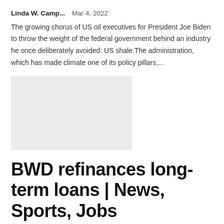Linda W. Camp...    Mar 4, 2022
The growing chorus of US oil executives for President Joe Biden to throw the weight of the federal government behind an industry he once deliberately avoided: US shale.The administration, which has made climate one of its policy pillars,...
[Figure (photo): Light gray placeholder thumbnail image]
BWD refinances long-term loans | News, Sports, Jobs
Linda W. Camp...    Feb 21, 2022
WELLSVILLE — The latest project in Frederick Heights will end up